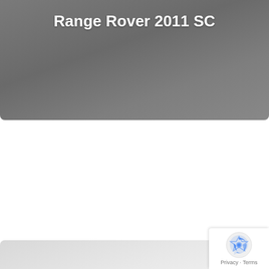Range Rover 2011 SC
How to Off Road in a Range Rover, P38a, L322, L405